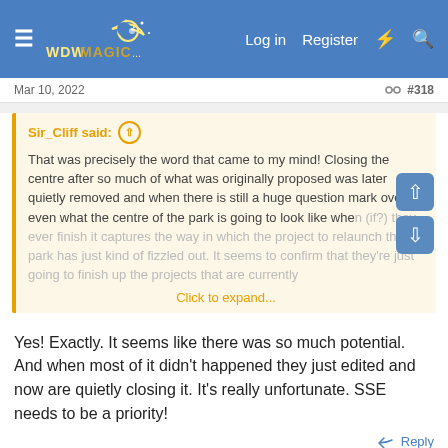WDWmagic.com — Log in  Register
Mar 10, 2022  #318
Sir_Cliff said: ↑  That was precisely the word that came to my mind! Closing the centre after so much of what was originally proposed was later quietly removed and when there is still a huge question mark over even what the centre of the park is going to look like when (if?) they ever finish it captures the way in which the project to relaunch the park has just kind of fizzled out. It seems to confirm that they're just going to finish up the projects that are currently...  Click to expand...
Yes! Exactly. It seems like there was so much potential. And when most of it didn't happened they just edited and now are quietly closing it. It's really unfortunate. SSE needs to be a priority!
↩ Reply
Sir_Cliff